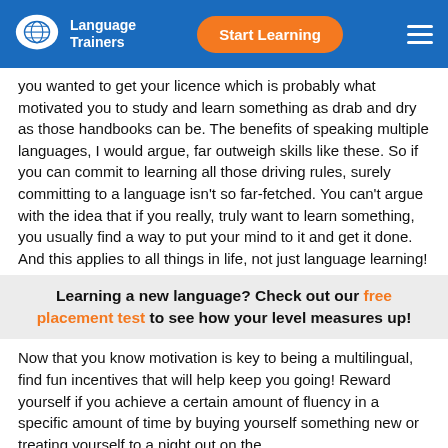Language Trainers | Start Learning
you wanted to get your licence which is probably what motivated you to study and learn something as drab and dry as those handbooks can be. The benefits of speaking multiple languages, I would argue, far outweigh skills like these. So if you can commit to learning all those driving rules, surely committing to a language isn't so far-fetched. You can't argue with the idea that if you really, truly want to learn something, you usually find a way to put your mind to it and get it done. And this applies to all things in life, not just language learning!
Learning a new language? Check out our free placement test to see how your level measures up!
Now that you know motivation is key to being a multilingual, find fun incentives that will help keep you going! Reward yourself if you achieve a certain amount of fluency in a specific amount of time by buying yourself something new or treating yourself to a night out on the